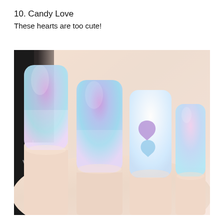10. Candy Love
These hearts are too cute!
[Figure (photo): Close-up photo of manicured nails painted with pastel ombre gradient (pink, purple, blue) and heart designs on a white nail. The nails are square-shaped and displayed against a dark background with a nail polish bottle partially visible.]